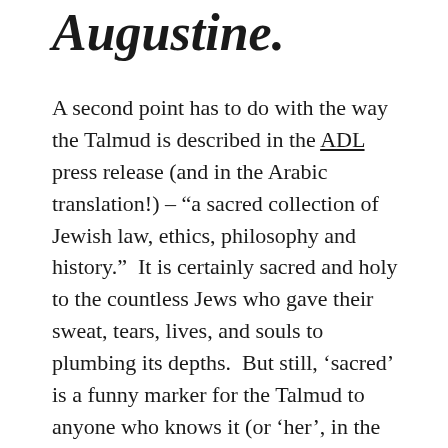Augustine.
A second point has to do with the way the Talmud is described in the ADL press release (and in the Arabic translation!) – “a sacred collection of Jewish law, ethics, philosophy and history.”  It is certainly sacred and holy to the countless Jews who gave their sweat, tears, lives, and souls to plumbing its depths.  But still, ‘sacred’ is a funny marker for the Talmud to anyone who knows it (or ‘her’, in the traditional androcentrism) intimately.  The Talmud is not a pristine collection of …